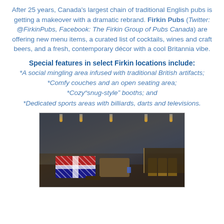After 25 years, Canada's largest chain of traditional English pubs is getting a makeover with a dramatic rebrand. Firkin Pubs (Twitter: @FirkinPubs, Facebook: The Firkin Group of Pubs Canada) are offering new menu items, a curated list of cocktails, wines and craft beers, and a fresh, contemporary décor with a cool Britannia vibe.
Special features in select Firkin locations include:
*A social mingling area infused with traditional British artifacts;
*Comfy couches and an open seating area;
*Cozy“snug-style” booths; and
*Dedicated sports areas with billiards, darts and televisions.
[Figure (photo): Interior of a Firkin pub showing a cozy lounge area with Union Jack patterned sofas, leather seating, pendant lights, a bar in the background, and warm ambient lighting.]